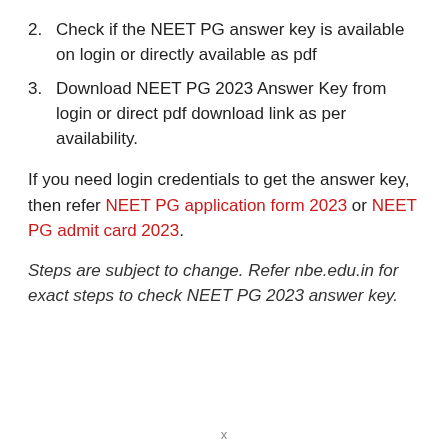2. Check if the NEET PG answer key is available on login or directly available as pdf
3. Download NEET PG 2023 Answer Key from login or direct pdf download link as per availability.
If you need login credentials to get the answer key, then refer NEET PG application form 2023 or NEET PG admit card 2023.
Steps are subject to change. Refer nbe.edu.in for exact steps to check NEET PG 2023 answer key.
x